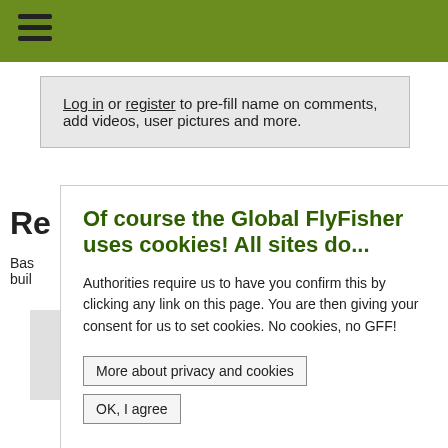Log in or register to pre-fill name on comments, add videos, user pictures and more.
Of course the Global FlyFisher uses cookies! All sites do...
Authorities require us to have you confirm this by clicking any link on this page. You are then giving your consent for us to set cookies. No cookies, no GFF!
More about privacy and cookies
OK, I agree